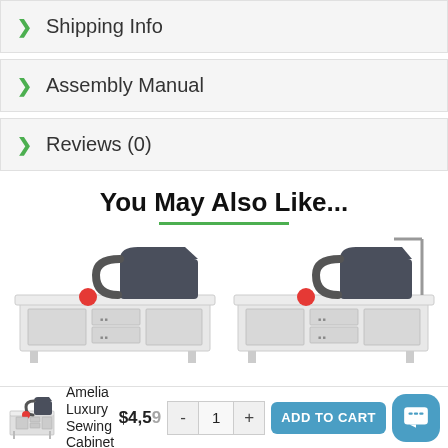Shipping Info
Assembly Manual
Reviews (0)
You May Also Like...
[Figure (photo): Two sewing cabinet product images shown side by side, each showing a white sewing cabinet with a dark sewing machine on top and a red pin cushion on the surface]
Amelia Luxury Sewing Cabinet $4,5[truncated]
- 1 + ADD TO CART